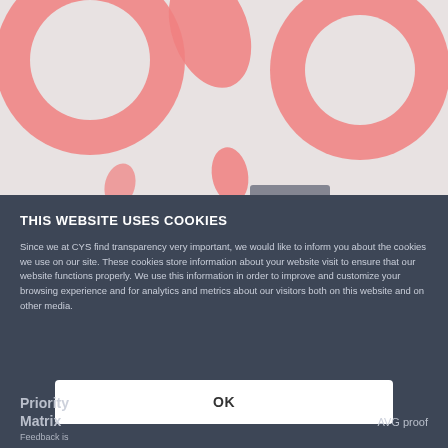[Figure (illustration): Decorative abstract shapes in salmon/coral pink color on a light gray background — includes large circular arcs, leaf/petal shapes, and geometric cutouts arranged decoratively.]
THIS WEBSITE USES COOKIES
Since we at CYS find transparency very important, we would like to inform you about the cookies we use on our site. These cookies store information about your website visit to ensure that our website functions properly. We use this information in order to improve and customize your browsing experience and for analytics and metrics about our visitors both on this website and on other media.
OK
Priority Matrix
AVG proof
Feedback is